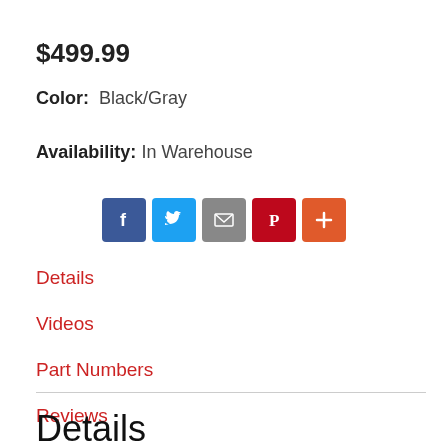$499.99
Color: Black/Gray
Availability: In Warehouse
[Figure (infographic): Social share buttons row: Facebook (blue), Twitter (light blue), Email (gray), Pinterest (red), More/Plus (orange-red)]
Details
Videos
Part Numbers
Reviews
Details